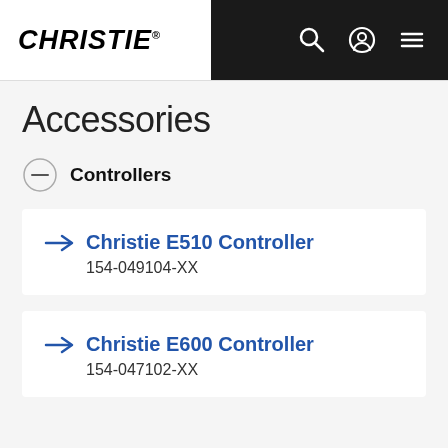CHRISTIE®
Accessories
Controllers
Christie E510 Controller
154-049104-XX
Christie E600 Controller
154-047102-XX